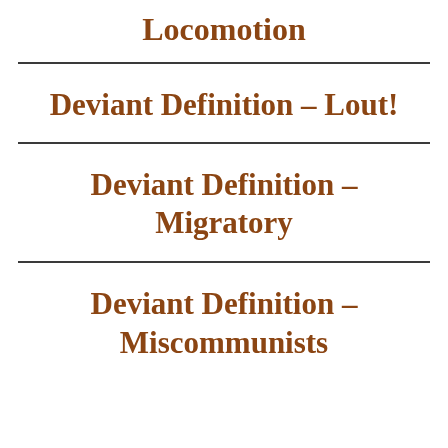Locomotion
Deviant Definition – Lout!
Deviant Definition – Migratory
Deviant Definition – Miscommunists